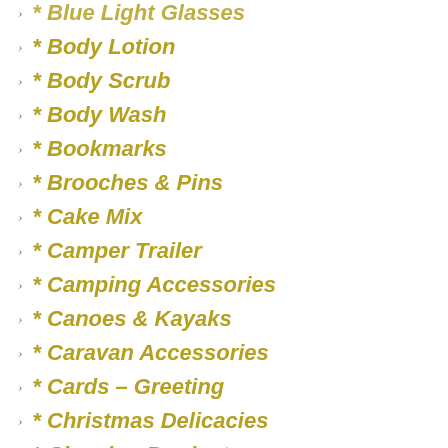* Blue Light Glasses
* Body Lotion
* Body Scrub
* Body Wash
* Bookmarks
* Brooches & Pins
* Cake Mix
* Camper Trailer
* Camping Accessories
* Canoes & Kayaks
* Caravan Accessories
* Cards – Greeting
* Christmas Delicacies
* Cleaning Products
* Cleansing Bar
* Coffee
* Coin Purses